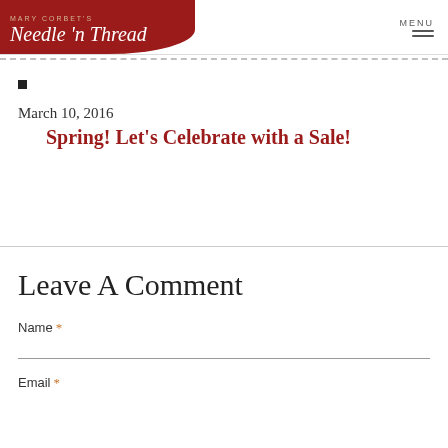Mary Corbet's Needle 'n Thread
■
March 10, 2016
Spring! Let's Celebrate with a Sale!
Leave A Comment
Name *
Email *